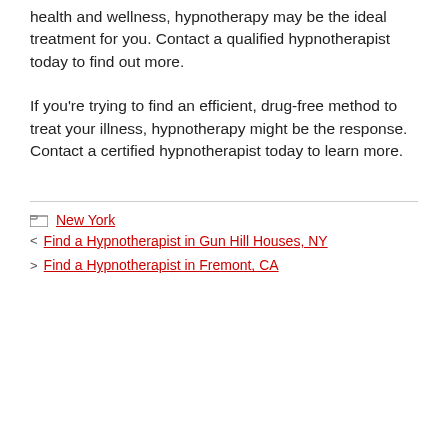health and wellness, hypnotherapy may be the ideal treatment for you. Contact a qualified hypnotherapist today to find out more.
If you're trying to find an efficient, drug-free method to treat your illness, hypnotherapy might be the response. Contact a certified hypnotherapist today to learn more.
New York
< Find a Hypnotherapist in Gun Hill Houses, NY
> Find a Hypnotherapist in Fremont, CA